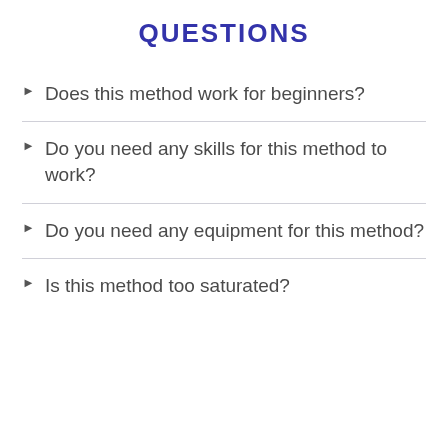QUESTIONS
Does this method work for beginners?
Do you need any skills for this method to work?
Do you need any equipment for this method?
Is this method too saturated?